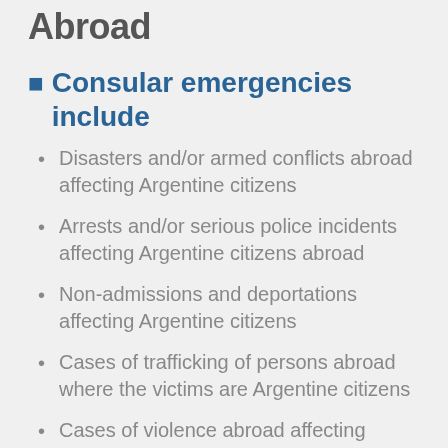Abroad
Consular emergencies include
Disasters and/or armed conflicts abroad affecting Argentine citizens
Arrests and/or serious police incidents affecting Argentine citizens abroad
Non-admissions and deportations affecting Argentine citizens
Cases of trafficking of persons abroad where the victims are Argentine citizens
Cases of violence abroad affecting Argentine citizens